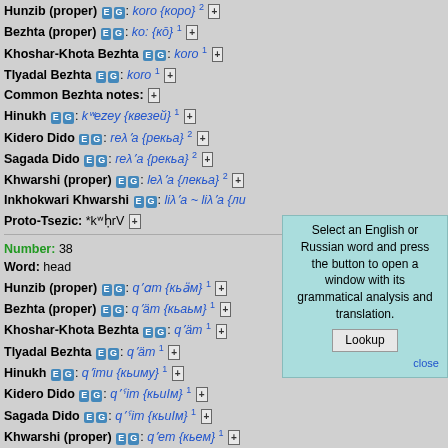Hunzib (proper) E G: koro {коро} [sup]2[/sup] [+]
Bezhta (proper) E G: ko: {кō} 1 [+]
Khoshar-Khota Bezhta E G: koro 1 [+]
Tlyadal Bezhta E G: koro 1 [+]
Common Bezhta notes: [+]
Hinukh E G: kʷezey {квезей} 1 [+]
Kidero Dido E G: reλʼa {рекьа} 2 [+]
Sagada Dido E G: reλʼa {рекьа} 2 [+]
Khwarshi (proper) E G: leλʼa {лекьа} 2 [+]
Inkhokwari Khwarshi E G: liλʼa ~ liλʼa {ли...
Proto-Tsezic: *kʷḥrV [+]
Number: 38
Word: head
Hunzib (proper) E G: qʼɑm {кьӓм} 1 [+]
Bezhta (proper) E G: qʼäm {кьаьм} 1 [+]
Khoshar-Khota Bezhta E G: qʼäm 1 [+]
Tlyadal Bezhta E G: qʼäm 1 [+]
Hinukh E G: qʼimu {кьиму} 1 [+]
Kidero Dido E G: qʼˤim {кьиIм} 1 [+]
Sagada Dido E G: qʼˤim {кьиIм} 1 [+]
Khwarshi (proper) E G: qʼem {кьем} 1 [+]
Select an English or Russian word and press the button to open a window with its grammatical analysis and translation.
Lookup
close